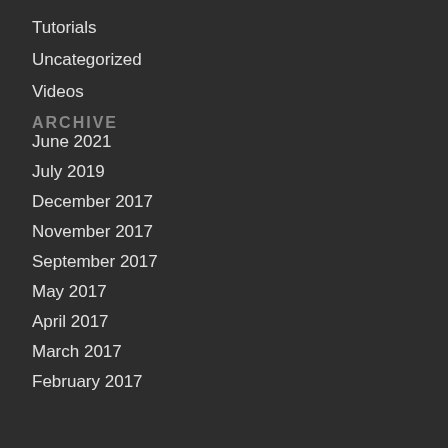Tutorials
Uncategorized
Videos
ARCHIVE
June 2021
July 2019
December 2017
November 2017
September 2017
May 2017
April 2017
March 2017
February 2017